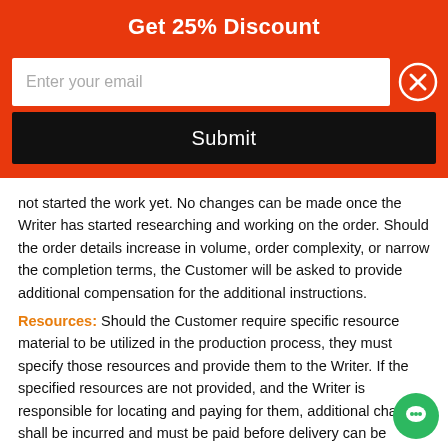Get 25% Discount
[Figure (screenshot): Email input field with placeholder 'Enter your email' and a close (X) button on the right]
[Figure (screenshot): Black Submit button]
not started the work yet. No changes can be made once the Writer has started researching and working on the order. Should the order details increase in volume, order complexity, or narrow the completion terms, the Customer will be asked to provide additional compensation for the additional instructions.
Resources: Should the Customer require specific resource material to be utilized in the production process, they must specify those resources and provide them to the Writer. If the specified resources are not provided, and the Writer is responsible for locating and paying for them, additional charges shall be incurred and must be paid before delivery can be made. In general, the following deadlines for orders are in place: